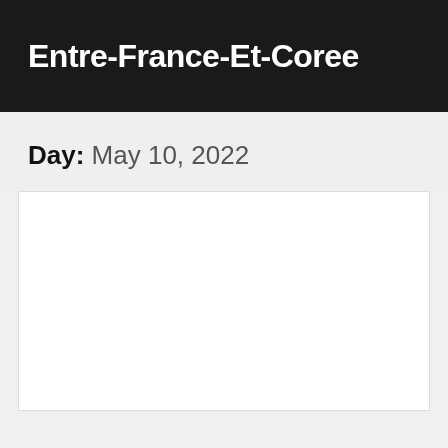Entre-France-Et-Coree
Day: May 10, 2022